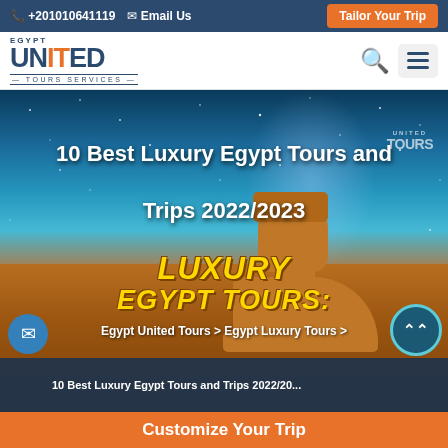+201010641119  Email Us  Tailor Your Trip
[Figure (logo): Egypt United Tours Services logo with orange and navy text]
10 Best Luxury Egypt Tours and Trips 2022/2023
[Figure (photo): Hero image of the Sphinx against a starry night sky with LUXURY EGYPT TOURS text overlay, desert pyramid ruins in foreground]
Egypt United Tours > Egypt Luxury Tours >
10 Best Luxury Egypt Tours and Trips 2022/20...
Customize Your Trip